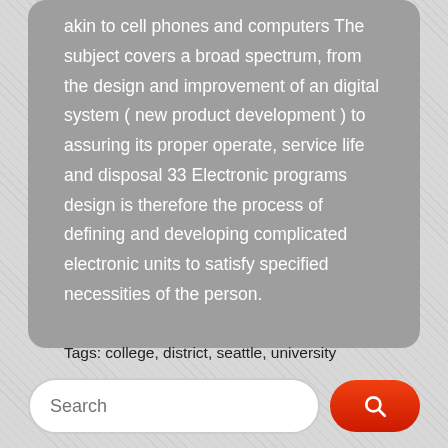akin to cell phones and computers The subject covers a broad spectrum, from the design and improvement of an digital system ( new product development ) to assuring its proper operate, service life and disposal 33 Electronic programs design is therefore the process of defining and developing complicated electronic units to satisfy specified necessities of the person.
Tags: college, district, seattle, university